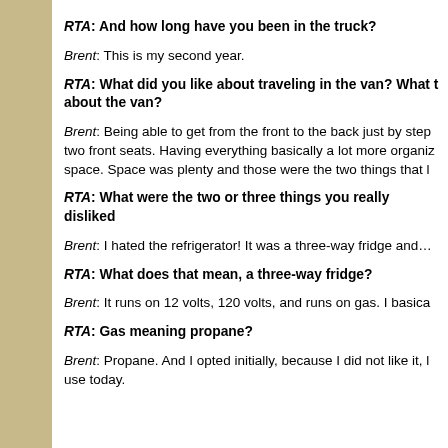RTA: And how long have you been in the truck?
Brent: This is my second year.
RTA: What did you like about traveling in the van? What t about the van?
Brent: Being able to get from the front to the back just by step two front seats. Having everything basically a lot more organiz space. Space was plenty and those were the two things that l
RTA: What were the two or three things you really disliked
Brent: I hated the refrigerator! It was a three-way fridge and…
RTA: What does that mean, a three-way fridge?
Brent: It runs on 12 volts, 120 volts, and runs on gas. I basica
RTA: Gas meaning propane?
Brent: Propane. And I opted initially, because I did not like it, l use today.